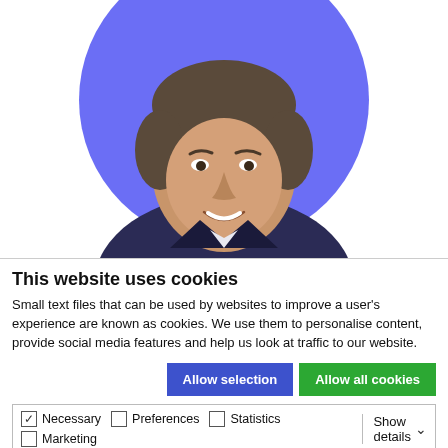[Figure (photo): Headshot of a middle-aged man with dark grey hair, smiling, set against a purple/blue circular background]
This website uses cookies
Small text files that can be used by websites to improve a user's experience are known as cookies. We use them to personalise content, provide social media features and help us look at traffic to our website.
Allow selection | Allow all cookies (buttons)
Necessary (checked), Preferences, Statistics, Marketing — Show details